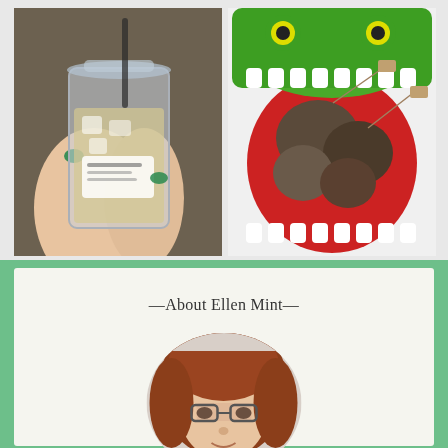[Figure (photo): Hand with green glittery nail polish holding a clear plastic iced drink cup with a label, car interior visible in background]
[Figure (photo): Green crocodile/alligator toy or container with open mouth holding multiple used tea bags inside]
—About Ellen Mint—
[Figure (photo): Portrait photo of a woman with red/auburn hair and glasses, circular crop]